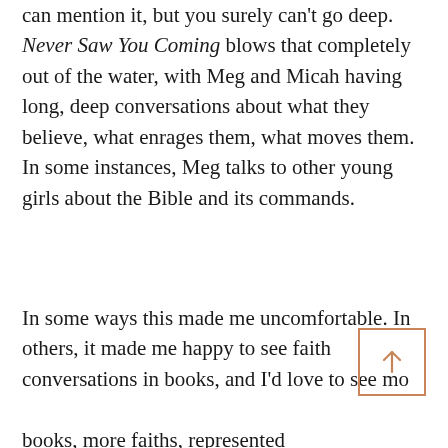can mention it, but you surely can't go deep. Never Saw You Coming blows that completely out of the water, with Meg and Micah having long, deep conversations about what they believe, what enrages them, what moves them. In some instances, Meg talks to other young girls about the Bible and its commands.
In some ways this made me uncomfortable. In others, it made me happy to see faith conversations in books, and I'd love to see more books, more faiths, represented this way. Faith is a crucial part of so many teens' lives, whether they're Christian, Jewish, Muslim, Hindu, or